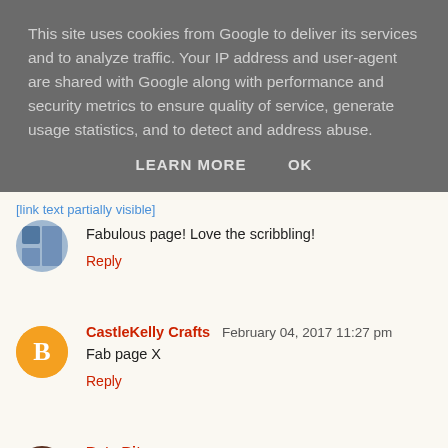This site uses cookies from Google to deliver its services and to analyze traffic. Your IP address and user-agent are shared with Google along with performance and security metrics to ensure quality of service, generate usage statistics, and to detect and address abuse.
LEARN MORE   OK
Fabulous page! Love the scribbling!
Reply
CastleKelly Crafts  February 04, 2017 11:27 pm
Fab page X
Reply
Bets Bits  February 05, 2017 8:19 am
Love the colour combination and scribble suits me fine ��